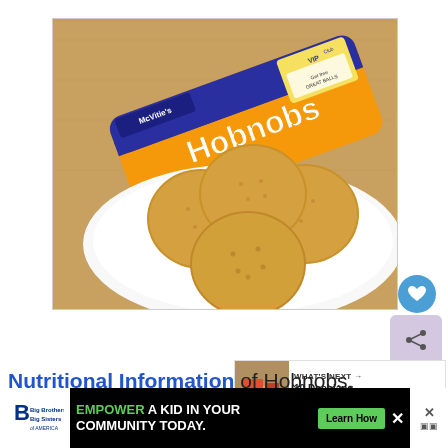[Figure (photo): Photo of McVitie's Hobnobs biscuit packet (orange and blue packaging) lying on a wooden surface next to a white plate with several round oat biscuits]
[Figure (screenshot): What's Next panel showing thumbnail of food and text '10 Doenjang Substitutes...']
Nutritional Information of Hobnobs, M...
[Figure (infographic): Advertisement banner: Big Brothers Big Sisters of America logo, text 'EMPOWER A KID IN YOUR COMMUNITY TODAY.', green 'Learn How' button, and X close buttons]